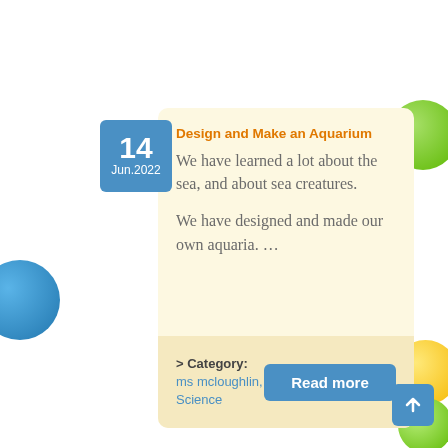[Figure (illustration): Blue decorative bubble on the left side]
[Figure (illustration): Green decorative bubble on the upper right]
[Figure (illustration): Yellow decorative bubble on the lower right]
[Figure (illustration): Small green decorative bubble at bottom right]
14
Jun.2022
Design and Make an Aquarium
We have learned a lot about the sea, and about sea creatures.

We have designed and made our own aquaria.  …
> Category: ms mcloughlin, Science
Read more